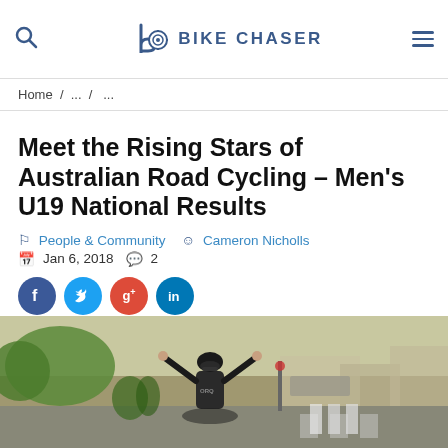BIKE CHASER
Home / ... / ...
Meet the Rising Stars of Australian Road Cycling – Men's U19 National Results
People & Community   Cameron Nicholls   Jan 6, 2018   2
[Figure (photo): A cyclist raising both arms in victory at a road cycling finish line, wearing a black helmet and jersey, with spectators and road barriers visible in the background.]